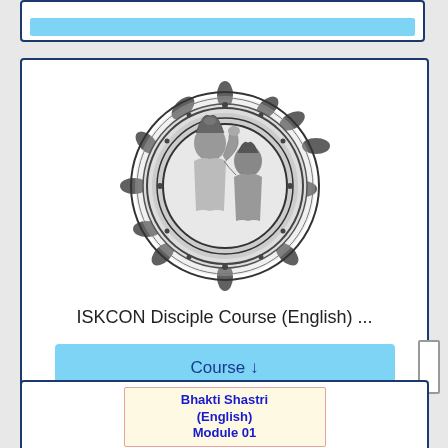[Figure (illustration): Circular mandala-style logo with Krishna and devotee illustration in grayscale, ornate decorative border]
ISKCON Disciple Course (English) ...
Course ↓
Bhakti Shastri (English) Module 01